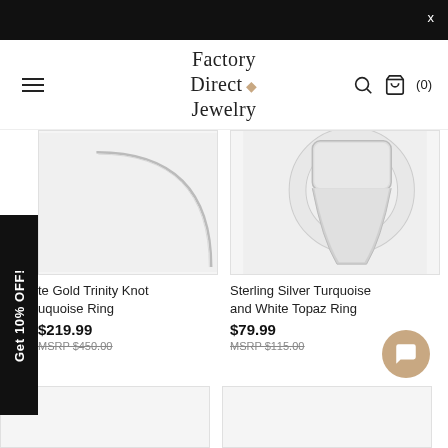Factory Direct Jewelry — navigation header with hamburger menu, search icon, and cart (0)
[Figure (screenshot): Promotional side tab reading 'Get 10% OFF!' rotated vertically on the left edge]
[Figure (photo): White Gold Trinity Knot Turquoise Ring product image showing ring band]
te Gold Trinity Knot Turquoise Ring
$219.99
MSRP $450.00
[Figure (photo): Sterling Silver Turquoise and White Topaz Ring product image showing ring setting]
Sterling Silver Turquoise and White Topaz Ring
$79.99
MSRP $115.00
[Figure (photo): Chat support button (tan circle with chat icon)]